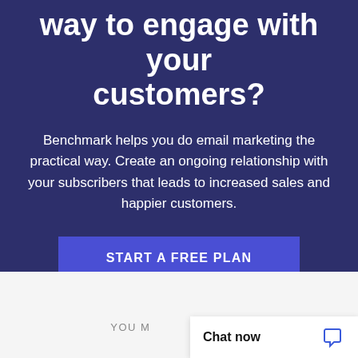way to engage with your customers?
Benchmark helps you do email marketing the practical way. Create an ongoing relationship with your subscribers that leads to increased sales and happier customers.
START A FREE PLAN
YOU MIGHT ALSO LIKE
Chat now